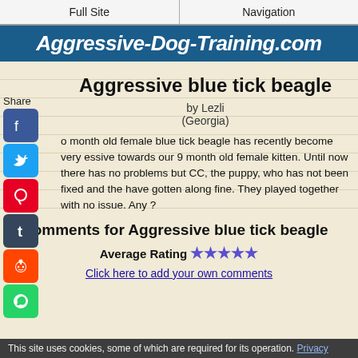Full Site | Navigation
Aggressive-Dog-Training.com
Aggressive blue tick beagle
by Lezli
(Georgia)
o month old female blue tick beagle has recently become very essive towards our 9 month old female kitten. Until now there has no problems but CC, the puppy, who has not been fixed and the have gotten along fine. They played together with no issue. Any ?
Comments for Aggressive blue tick beagle
Average Rating ★★★★★
Click here to add your own comments
This site uses cookies, some of which are required for its operation. Privacy